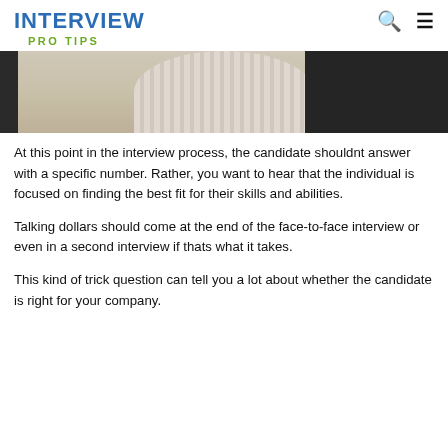INTERVIEW
PRO TIPS
[Figure (photo): Partial photo of a person wearing a striped collared shirt, shown from the shoulders up, with a dark background.]
At this point in the interview process, the candidate shouldnt answer with a specific number. Rather, you want to hear that the individual is focused on finding the best fit for their skills and abilities.
Talking dollars should come at the end of the face-to-face interview or even in a second interview if thats what it takes.
This kind of trick question can tell you a lot about whether the candidate is right for your company.